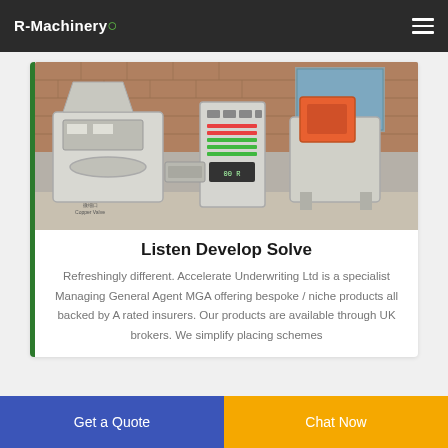R-Machinery
[Figure (photo): Industrial recycling/processing machinery including shredders and control panels in a factory setting]
Listen Develop Solve
Refreshingly different. Accelerate Underwriting Ltd is a specialist Managing General Agent MGA offering bespoke / niche products all backed by A rated insurers. Our products are available through UK brokers. We simplify placing schemes
Get a Quote  |  Chat Now